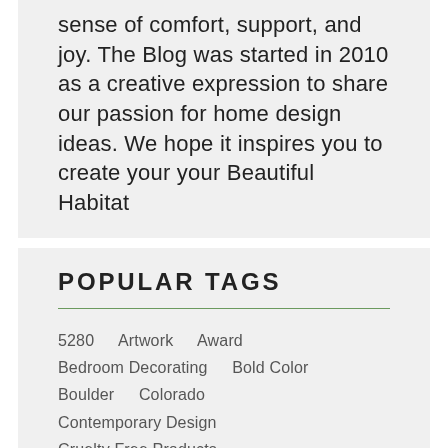sense of comfort, support, and joy. The Blog was started in 2010 as a creative expression to share our passion for home design ideas. We hope it inspires you to create your your Beautiful Habitat
POPULAR TAGS
5280
Artwork
Award
Bedroom Decorating
Bold Color
Boulder
Colorado
Contemporary Design
Cruelty Free Products
Custom Furniture
Denver